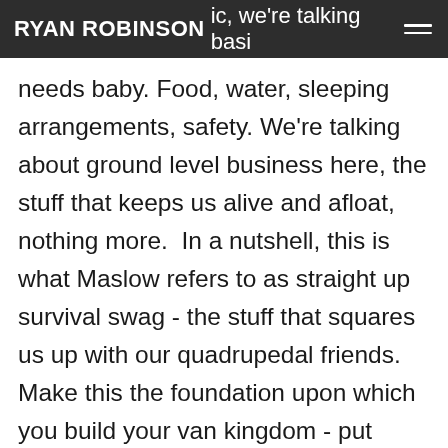RYAN ROBINSON
ic, we're talking basic needs baby. Food, water, sleeping arrangements, safety. We're talking about ground level business here, the stuff that keeps us alive and afloat, nothing more.  In a nutshell, this is what Maslow refers to as straight up survival swag - the stuff that squares us up with our quadrupedal friends. Make this the foundation upon which you build your van kingdom - put thought into what these needs are and effort into making sure they're always available. Reality starts with the basics and if you can't manage that,